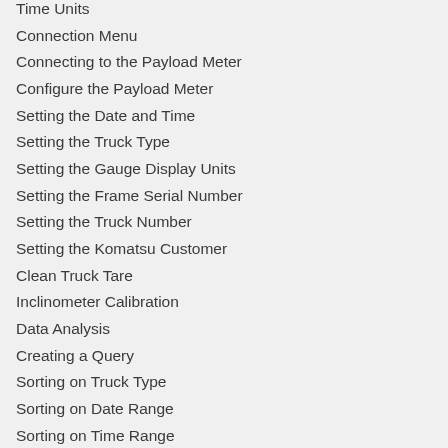Time Units
Connection Menu
Connecting to the Payload Meter
Configure the Payload Meter
Setting the Date and Time
Setting the Truck Type
Setting the Gauge Display Units
Setting the Frame Serial Number
Setting the Truck Number
Setting the Komatsu Customer
Clean Truck Tare
Inclinometer Calibration
Data Analysis
Creating a Query
Sorting on Truck Type
Sorting on Date Range
Sorting on Time Range
Payload Detail Screen
Creating Reports